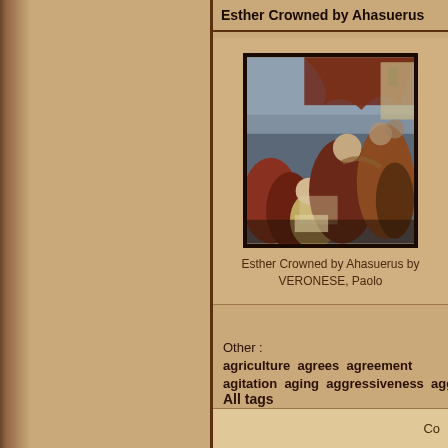Esther Crowned by Ahasuerus
[Figure (photo): Painting 'Esther Crowned by Ahasuerus' by VERONESE, Paolo — a Renaissance painting showing a crowning scene with multiple figures in rich robes and drapery]
Esther Crowned by Ahasuerus by VERONESE, Paolo
Other : agriculture agrees agreement agitation aging aggressiveness agg
All tags
|